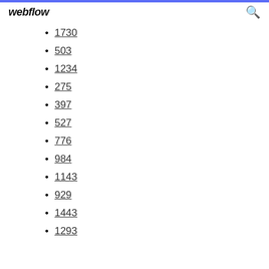webflow
1730
503
1234
275
397
527
776
984
1143
929
1443
1293